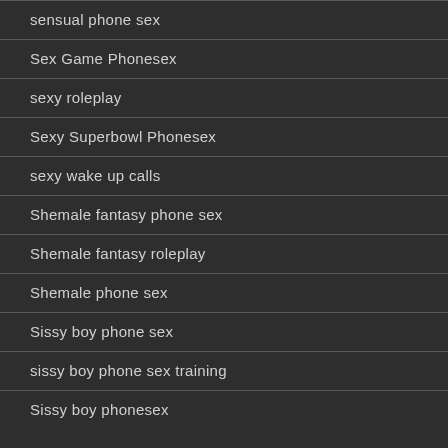sensual phone sex
Sex Game Phonesex
sexy roleplay
Sexy Superbowl Phonesex
sexy wake up calls
Shemale fantasy phone sex
Shemale fantasy roleplay
Shemale phone sex
Sissy boy phone sex
sissy boy phone sex training
Sissy boy phonesex